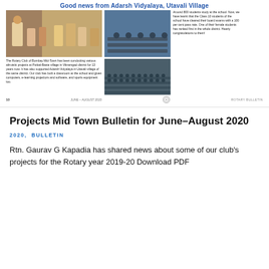Good news from Adarsh Vidyalaya, Utavali Village
[Figure (photo): Photo of people at Adarsh Vidyalaya school, group including adults and students]
[Figure (photo): Students studying in a classroom]
Around 800 students study at the school. Now, we have learnt that the Class 10 students of the school have cleared their board exams with a 100 per cent pass rate. One of their female students has ranked first in the whole district. Hearty congratulations to them!
The Rotary Club of Bombay Mid-Town has been conducting various altruistic projects at Potkal-Baste village in Vikramgad district for 13 years now. It has also supported Adarsh Vidyalaya in Utavali village of the same district. Our club has built a classroom at the school and given computers, e-learning projectors and software, and sports equipment too.
[Figure (photo): Large group of school students sitting in rows outdoors]
10   JUNE – AUGUST 2020   ROTARY BULLETIN
Projects Mid Town Bulletin for June–August 2020
2020, BULLETIN
Rtn. Gaurav G Kapadia has shared news about some of our club's projects for the Rotary year 2019-20 Download PDF